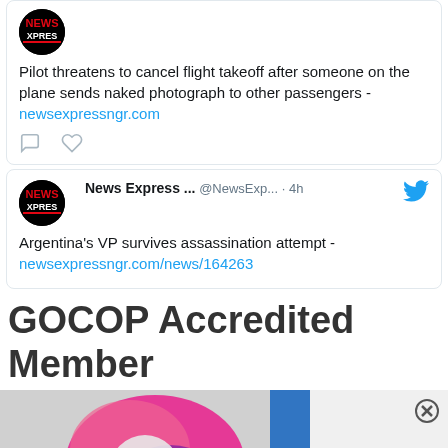[Figure (screenshot): Partial tweet from News Express showing text about pilot threatening to cancel flight after naked photograph sent to passengers, with link newsexpressngr.com, and comment/heart action icons]
[Figure (screenshot): Tweet from News Express @NewsExp... 4h: Argentina's VP survives assassination attempt - newsexpressngr.com/news/164263, with Twitter bird icon]
GOCOP Accredited Member
[Figure (screenshot): Bottom section showing Ureka Media video player on left with play/mute/expand controls, and Instagram panel on right with close button, 'More Instagram' text, and 'Recommended by' footer]